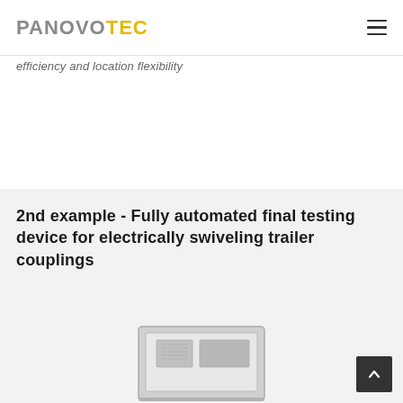PANOVOTEC
efficiency and location flexibility
2nd example - Fully automated final testing device for electrically swiveling trailer couplings
[Figure (photo): Partially visible image of an automated final testing device for electrically swiveling trailer couplings — a boxy industrial device shown from the front/side angle.]